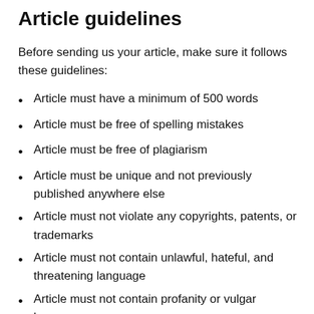Article guidelines
Before sending us your article, make sure it follows these guidelines:
Article must have a minimum of 500 words
Article must be free of spelling mistakes
Article must be free of plagiarism
Article must be unique and not previously published anywhere else
Article must not violate any copyrights, patents, or trademarks
Article must not contain unlawful, hateful, and threatening language
Article must not contain profanity or vulgar language